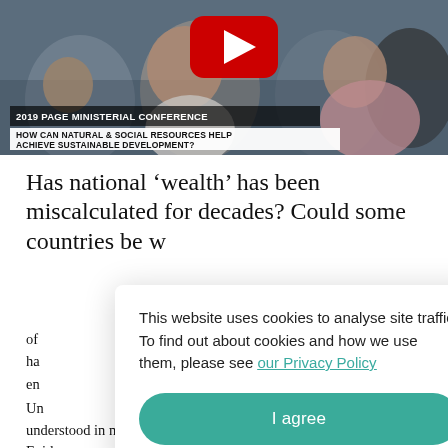[Figure (screenshot): YouTube video thumbnail showing audience at 2019 PAGE MINISTERIAL CONFERENCE with overlay text 'HOW CAN NATURAL & SOCIAL RESOURCES HELP ACHIEVE SUSTAINABLE DEVELOPMENT?' and YouTube play button]
Has national ‘wealth’ has been miscalculated for decades? Could some countries be w...
This website uses cookies to analyse site traffic. To find out about cookies and how we use them, please see our Privacy Policy
I agree
Un...
understood in narrow terms (e.g. GDP). Evidence now shows that nature is essential for